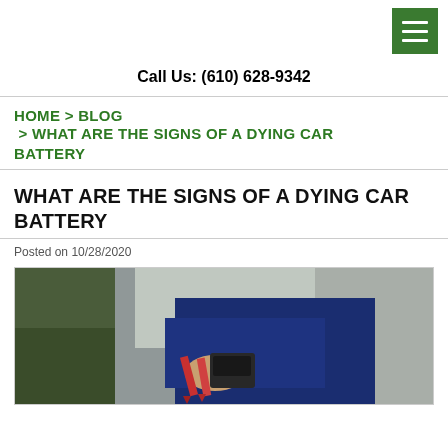[hamburger menu icon]
Call Us: (610) 628-9342
HOME > BLOG > WHAT ARE THE SIGNS OF A DYING CAR BATTERY
WHAT ARE THE SIGNS OF A DYING CAR BATTERY
Posted on 10/28/2020
[Figure (photo): A person using jumper cables or a testing device on a car battery, wearing a blue jacket and watch, with red cable clips visible.]